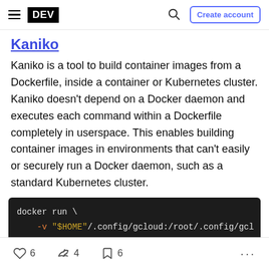DEV | Create account
Kaniko
Kaniko is a tool to build container images from a Dockerfile, inside a container or Kubernetes cluster. Kaniko doesn't depend on a Docker daemon and executes each command within a Dockerfile completely in userspace. This enables building container images in environments that can't easily or securely run a Docker daemon, such as a standard Kubernetes cluster.
docker run \
    -v "$HOME"/.config/gcloud:/root/.config/gcl
    -v /path/to/context:/workspace \
6  4  6  ...